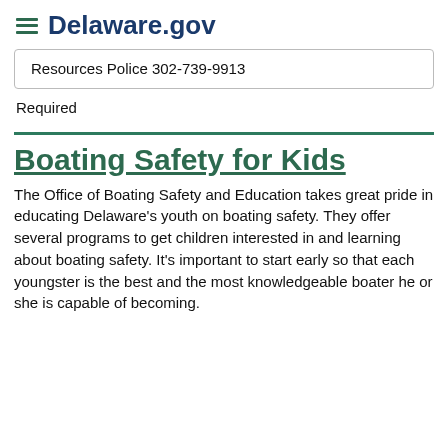Delaware.gov
Resources Police 302-739-9913
Required
Boating Safety for Kids
The Office of Boating Safety and Education takes great pride in educating Delaware's youth on boating safety. They offer several programs to get children interested in and learning about boating safety. It's important to start early so that each youngster is the best and the most knowledgeable boater he or she is capable of becoming.